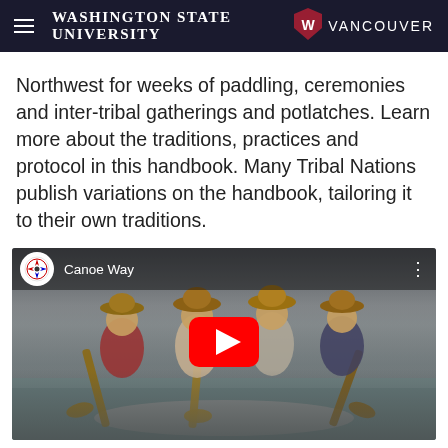Washington State University Vancouver
Northwest for weeks of paddling, ceremonies and inter-tribal gatherings and potlatches. Learn more about the traditions, practices and protocol in this handbook. Many Tribal Nations publish variations on the handbook, tailoring it to their own traditions.
[Figure (screenshot): Embedded YouTube video titled 'Canoe Way' showing people paddling a canoe on water, wearing traditional wide-brimmed hats, with a red YouTube play button overlay.]